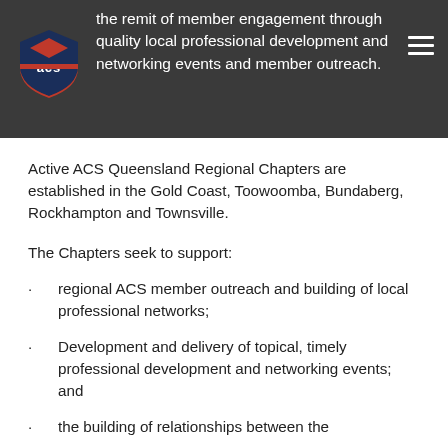the remit of member engagement through quality local professional development and networking events and member outreach.
Active ACS Queensland Regional Chapters are established in the Gold Coast, Toowoomba, Bundaberg, Rockhampton and Townsville.
The Chapters seek to support:
regional ACS member outreach and building of local professional networks;
Development and delivery of topical, timely professional development and networking events; and
the building of relationships between the